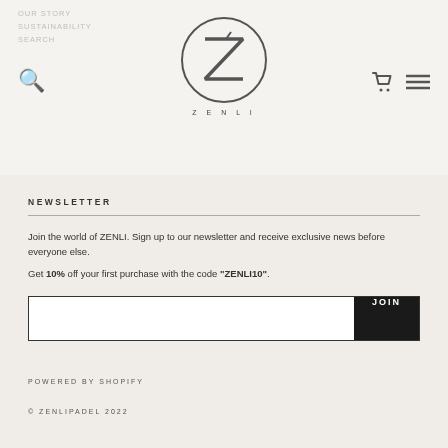OUR STORY SUSTAINABILITY SEARCH
[Figure (logo): ZENLI brand logo — a stylized Z inside a circle with the word ZENLI below]
NEWSLETTER
Join the world of ZENLI. Sign up to our newsletter and receive exclusive news before everyone else.
Get 10% off your first purchase with the code "ZENLI10".
POWERED BY SHOPIFY
© ZENLIPADEL 2022